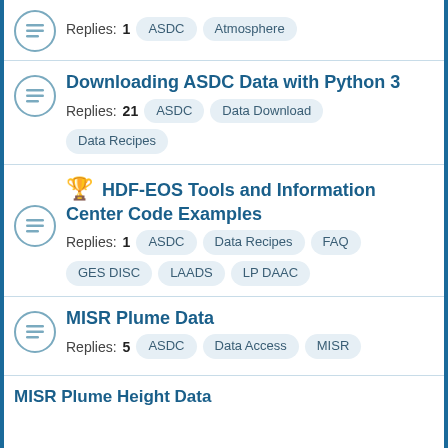Replies: 1  ASDC  Atmosphere
Downloading ASDC Data with Python 3
Replies: 21  ASDC  Data Download  Data Recipes
🏆 HDF-EOS Tools and Information Center Code Examples
Replies: 1  ASDC  Data Recipes  FAQ  GES DISC  LAADS  LP DAAC
MISR Plume Data
Replies: 5  ASDC  Data Access  MISR
MISR Plume Height Data